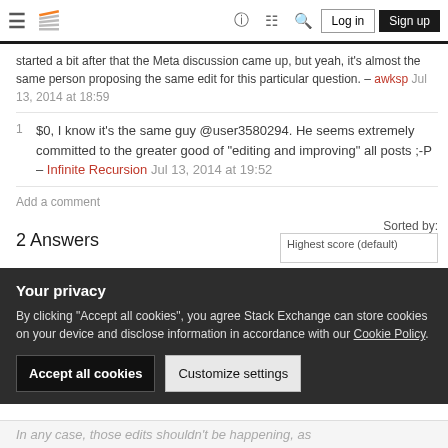Stack Exchange navigation header with Log in and Sign up buttons
started a bit after that the Meta discussion came up, but yeah, it's almost the same person proposing the same edit for this particular question. – awksp Jul 13, 2014 at 18:59
1  $0, I know it's the same guy @user3580294. He seems extremely committed to the greater good of "editing and improving" all posts ;-P – Infinite Recursion Jul 13, 2014 at 19:52
Add a comment
2 Answers
Sorted by: Highest score (default)
Your privacy
By clicking "Accept all cookies", you agree Stack Exchange can store cookies on your device and disclose information in accordance with our Cookie Policy.
Accept all cookies  Customize settings
In any case, those edits shouldn't be happening, as